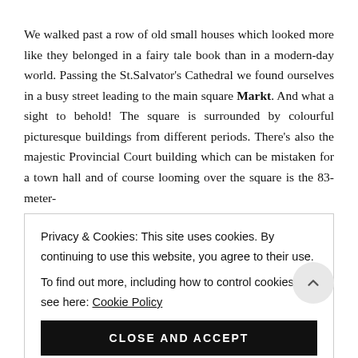We walked past a row of old small houses which looked more like they belonged in a fairy tale book than in a modern-day world. Passing the St.Salvator's Cathedral we found ourselves in a busy street leading to the main square Markt. And what a sight to behold! The square is surrounded by colourful picturesque buildings from different periods. There's also the majestic Provincial Court building which can be mistaken for a town hall and of course looming over the square is the 83-meter-
Privacy & Cookies: This site uses cookies. By continuing to use this website, you agree to their use.
To find out more, including how to control cookies, see here: Cookie Policy
CLOSE AND ACCEPT
steps up to the top of the Belfry tower to see the